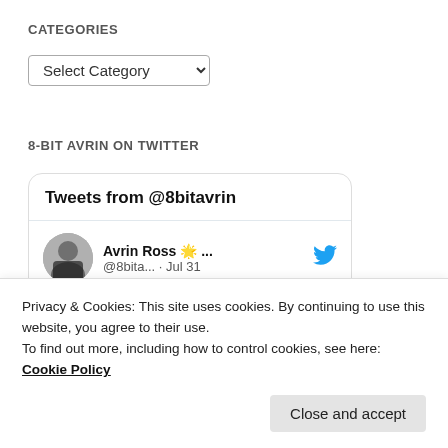CATEGORIES
[Figure (screenshot): A dropdown select element labeled 'Select Category' with a dropdown arrow]
8-BIT AVRIN ON TWITTER
[Figure (screenshot): Twitter widget card showing 'Tweets from @8bitavrin' with a tweet from Avrin Ross @8bita... on Jul 31 about Google Play Academy Store]
Privacy & Cookies: This site uses cookies. By continuing to use this website, you agree to their use.
To find out more, including how to control cookies, see here: Cookie Policy
Close and accept